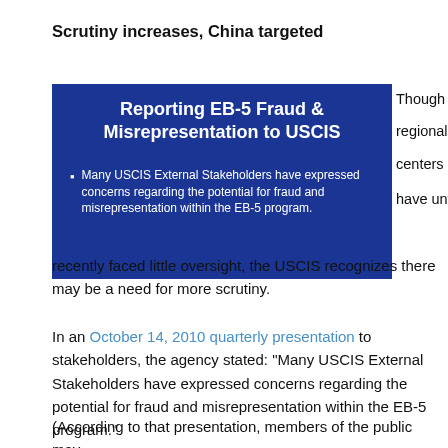Scrutiny increases, China targeted
[Figure (infographic): Dark blue box titled 'Reporting EB-5 Fraud & Misrepresentation to USCIS' with a bullet point: 'Many USCIS External Stakeholders have expressed concerns regarding the potential for fraud and misrepresentation within the EB-5 program.']
Though regional centers have until recently faced little oversight, the USCIS recognizes there may be a need for more scrutiny.
In an October 14, 2010 quarterly presentation to stakeholders, the agency stated: "Many USCIS External Stakeholders have expressed concerns regarding the potential for fraud and misrepresentation within the EB-5 program."
(According to that presentation, members of the public may